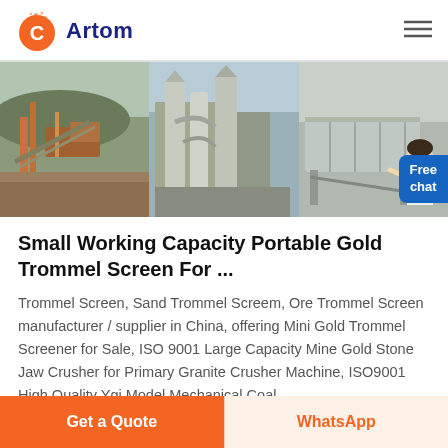Artom
[Figure (photo): Three industrial mining/processing equipment photos side by side: a quarry/screening plant, a vertical mill/dust collection system, and a horizontal drum/trommel screen. A female customer service representative appears in bottom right corner with a 'Free chat' blue button overlay.]
Small Working Capacity Portable Gold Trommel Screen For ...
Trommel Screen, Sand Trommel Screem, Ore Trommel Screen manufacturer / supplier in China, offering Mini Gold Trommel Screener for Sale, ISO 9001 Large Capacity Mine Gold Stone Jaw Crusher for Primary Granite Crusher Machine, ISO9001 High Quality Ygi Model Mechanical Coal
Get a Quote | WhatsApp